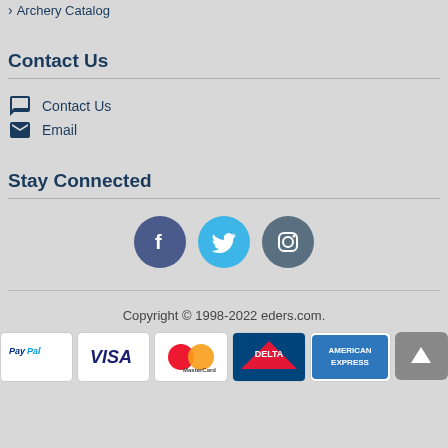Archery Catalog
Contact Us
Contact Us
Email
Stay Connected
[Figure (other): Social media icons: Facebook (blue circle with f), Twitter (cyan circle with bird), Instagram (grey-blue circle with camera)]
Copyright © 1998-2022 eders.com.
[Figure (other): Payment method logos: PayPal, VISA, MasterCard, Delta, American Express, and a scroll-to-top button]